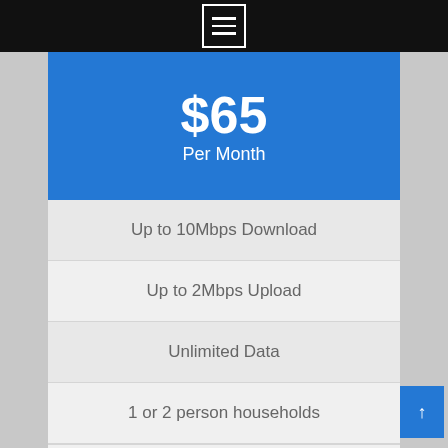Menu / Navigation icon
$65 Per Month
Up to 10Mbps Download
Up to 2Mbps Upload
Unlimited Data
1 or 2 person households